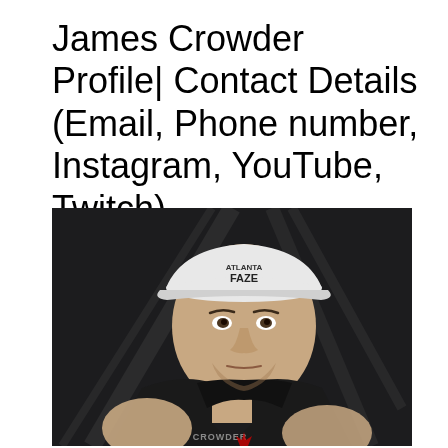James Crowder Profile| Contact Details (Email, Phone number, Instagram, YouTube, Twitch)
[Figure (photo): Photo of James Crowder wearing a white Atlanta FaZe cap and black hoodie with 'CROWDER' text on the chest, with hands raised showing finger gestures. Dark arena background with dramatic lighting.]